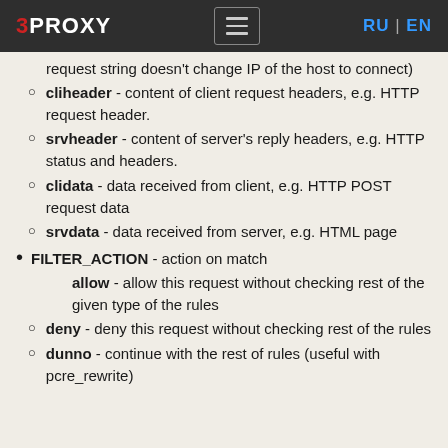3PROXY | RU | EN
request string doesn't change IP of the host to connect)
cliheader - content of client request headers, e.g. HTTP request header.
srvheader - content of server's reply headers, e.g. HTTP status and headers.
clidata - data received from client, e.g. HTTP POST request data
srvdata - data received from server, e.g. HTML page
FILTER_ACTION - action on match
allow - allow this request without checking rest of the given type of the rules
deny - deny this request without checking rest of the rules
dunno - continue with the rest of rules (useful with pcre_rewrite)